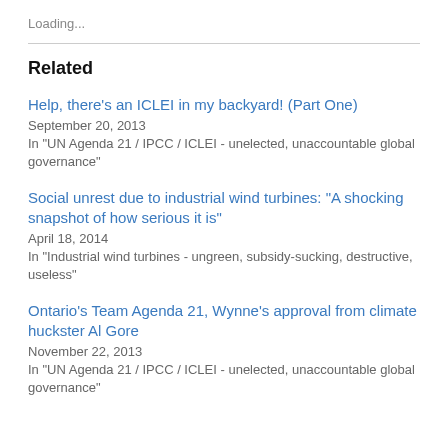Loading...
Related
Help, there's an ICLEI in my backyard! (Part One)
September 20, 2013
In "UN Agenda 21 / IPCC / ICLEI - unelected, unaccountable global governance"
Social unrest due to industrial wind turbines: "A shocking snapshot of how serious it is"
April 18, 2014
In "Industrial wind turbines - ungreen, subsidy-sucking, destructive, useless"
Ontario's Team Agenda 21, Wynne's approval from climate huckster Al Gore
November 22, 2013
In "UN Agenda 21 / IPCC / ICLEI - unelected, unaccountable global governance"